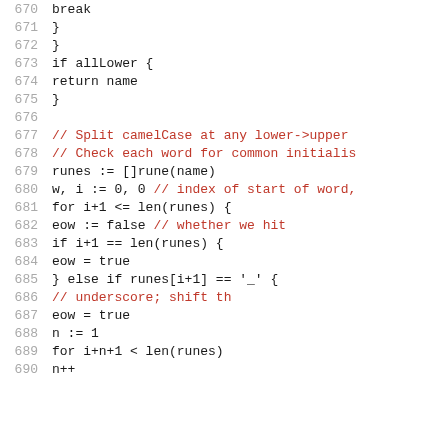Code listing lines 670-690, Go source code
670    break
671    }
672  }
673  if allLower {
674      return name
675  }
676
677  // Split camelCase at any lower->upper
678  // Check each word for common initialis
679  runes := []rune(name)
680  w, i := 0, 0 // index of start of word,
681  for i+1 <= len(runes) {
682      eow := false // whether we hit
683      if i+1 == len(runes) {
684          eow = true
685      } else if runes[i+1] == '_' {
686          // underscore; shift th
687          eow = true
688          n := 1
689          for i+n+1 < len(runes)
690              n++